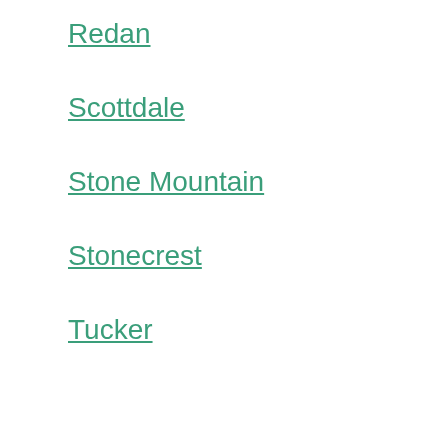Redan
Scottdale
Stone Mountain
Stonecrest
Tucker